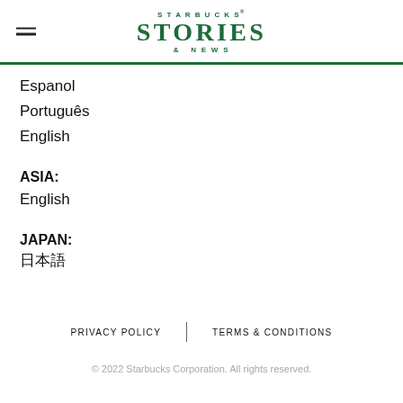STARBUCKS® STORIES & NEWS
Espanol
Português
English
ASIA:
English
JAPAN:
日本語
PRIVACY POLICY | TERMS & CONDITIONS
© 2022 Starbucks Corporation. All rights reserved.